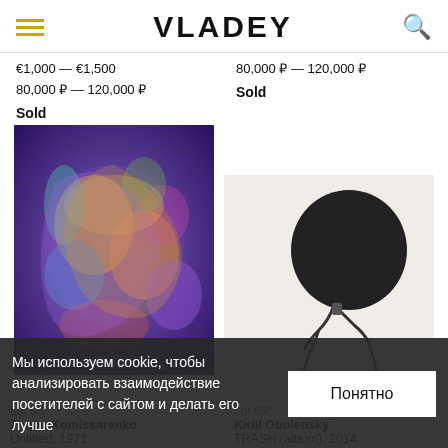VLADEY
€1,000 — €1,500
80,000 ₽ — 120,000 ₽
80,000 ₽ — 120,000 ₽
Sold
Sold
[Figure (photo): Abstract colorful painting with purple, blue, yellow and orange swirling forms - Zenon Komissarenko, Untitled, 1971]
[Figure (photo): Black and white illustration of a figure bent over with large dark round head - Kirill Obolensky, TRASH (album), 2014]
Мы используем cookie, чтобы анализировать взаимодействие посетителей с сайтом и делать его лучше
Понятно
Lot 68*
Zenon Komissarenko
Untitled, 1971
Lot 69*
Kirill Obolensky
TRASH (album), 2014